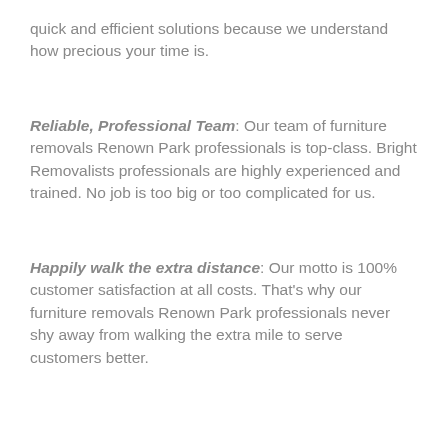quick and efficient solutions because we understand how precious your time is.
Reliable, Professional Team: Our team of furniture removals Renown Park professionals is top-class. Bright Removalists professionals are highly experienced and trained. No job is too big or too complicated for us.
Happily walk the extra distance: Our motto is 100% customer satisfaction at all costs. That's why our furniture removals Renown Park professionals never shy away from walking the extra mile to serve customers better.